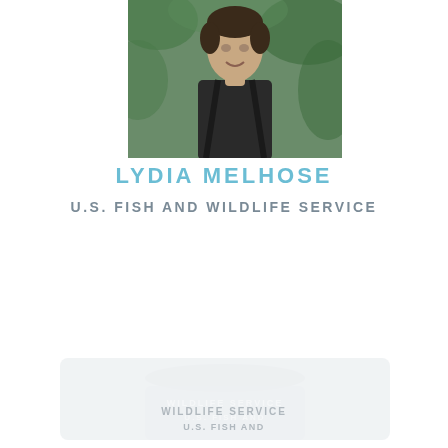[Figure (photo): Portrait photo of a person wearing dark clothing against a green outdoor background]
LYDIA MELHOSE
U.S. FISH AND WILDLIFE SERVICE
[Figure (photo): Faded/watermarked secondary image (very faint, partially visible at bottom of page)]